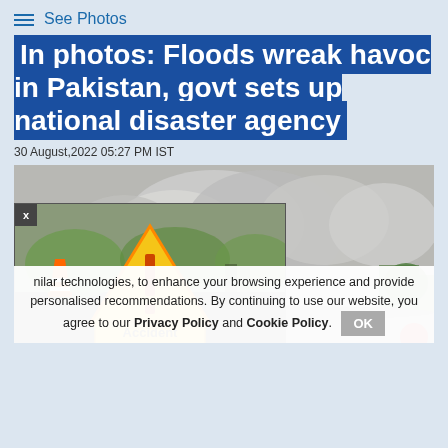See Photos
In photos: Floods wreak havoc in Pakistan, govt sets up national disaster agency
30 August,2022 05:27 PM IST
[Figure (photo): Flood destruction photo showing dust clouds from collapsed buildings, with an accident warning sign popup overlay in the foreground]
nilar technologies, to enhance your browsing experience and provide personalised recommendations. By continuing to use our website, you agree to our Privacy Policy and Cookie Policy.